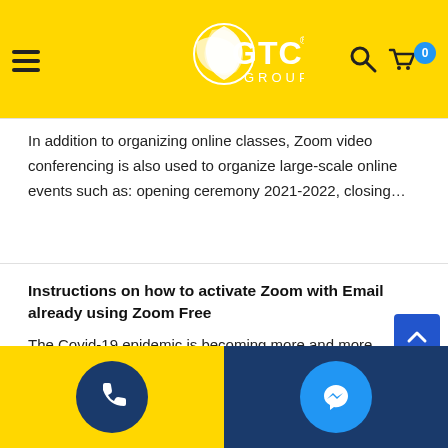GTC GROUP
In addition to organizing online classes, Zoom video conferencing is also used to organize large-scale online events such as: opening ceremony 2021-2022, closing…
Instructions on how to activate Zoom with Email already using Zoom Free
The Covid-19 epidemic is becoming more and more complicated, so learning, teaching, working remotely, meeting conferences, exchanging information through the Zoom…